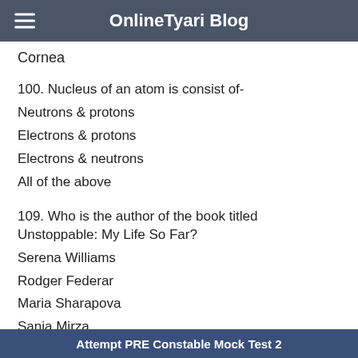OnlineTyari Blog
Cornea
100. Nucleus of an atom is consist of-
Neutrons & protons
Electrons & protons
Electrons & neutrons
All of the above
109. Who is the author of the book titled Unstoppable: My Life So Far?
Serena Williams
Rodger Federar
Maria Sharapova
Sania Mirza
Attempt PRE Constable Mock Test 2